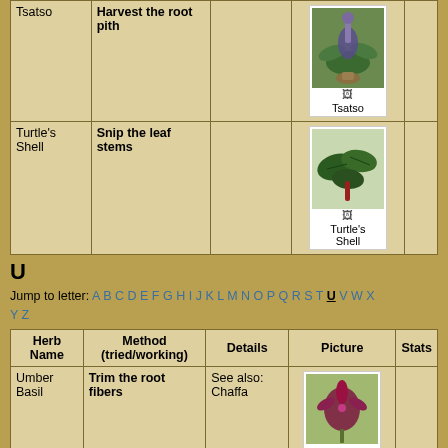| Herb Name | Method (tried/working) | Details | Picture | Stats |
| --- | --- | --- | --- | --- |
| Tsatso | Harvest the root pith |  | [image: Tsatso] |  |
| Turtle's Shell | Snip the leaf stems |  | [image: Turtle's Shell] |  |
U
Jump to letter: A B C D E F G H I J K L M N O P Q R S T U V W X Y Z
| Herb Name | Method (tried/working) | Details | Picture | Stats |
| --- | --- | --- | --- | --- |
| Umber Basil | Trim the root fibers | See also: Chaffa | [image: Umber] |  |